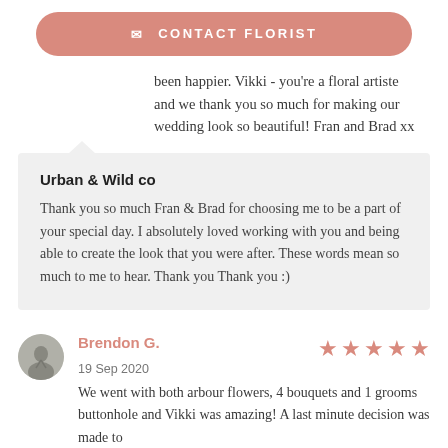[Figure (other): Contact Florist button with envelope icon, salmon/pink rounded rectangle]
been happier. Vikki - you're a floral artiste and we thank you so much for making our wedding look so beautiful! Fran and Brad xx
Urban & Wild co
Thank you so much Fran & Brad for choosing me to be a part of your special day. I absolutely loved working with you and being able to create the look that you were after. These words mean so much to me to hear. Thank you Thank you :)
Brendon G.
19 Sep 2020
We went with both arbour flowers, 4 bouquets and 1 grooms buttonhole and Vikki was amazing! A last minute decision was made to